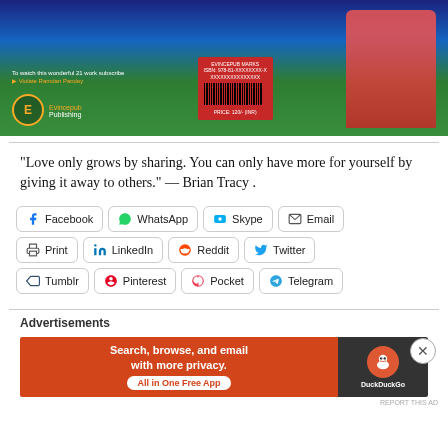[Figure (photo): Book cover photo showing a child in red clothing holding a white cup, with Evincepub Publishing logo and barcode on a green and dark blue background]
"Love only grows by sharing. You can only have more for yourself by giving it away to others." — Brian Tracy .
[Figure (infographic): Social share buttons grid: Facebook, WhatsApp, Skype, Email, Print, LinkedIn, Reddit, Twitter, Tumblr, Pinterest, Pocket, Telegram]
Advertisements
[Figure (screenshot): DuckDuckGo advertisement banner: Search, browse, and email with more privacy. All in One Free App]